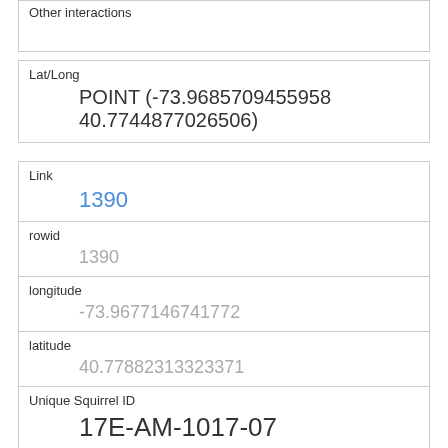Other interactions
| Field | Value |
| --- | --- |
| Lat/Long | POINT (-73.9685709455958 40.7744877026506) |
| Link | 1390 |
| rowid | 1390 |
| longitude | -73.9677146741772 |
| latitude | 40.77882313323371 |
| Unique Squirrel ID | 17E-AM-1017-07 |
| Hectare | 17E |
| Shift | AM |
| Date | 10172018 |